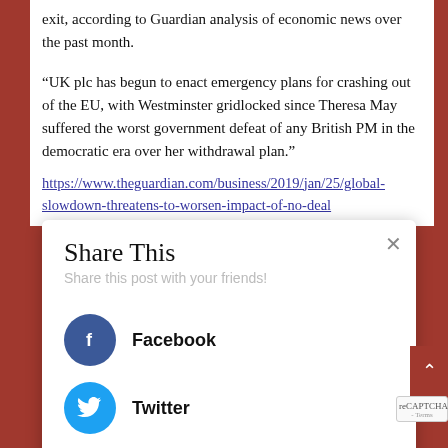exit, according to Guardian analysis of economic news over the past month.
“UK plc has begun to enact emergency plans for crashing out of the EU, with Westminster gridlocked since Theresa May suffered the worst government defeat of any British PM in the democratic era over her withdrawal plan.”
https://www.theguardian.com/business/2019/jan/25/global-slowdown-threatens-to-worsen-impact-of-no-deal
Share This
Share this post with your friends!
Facebook
Twitter